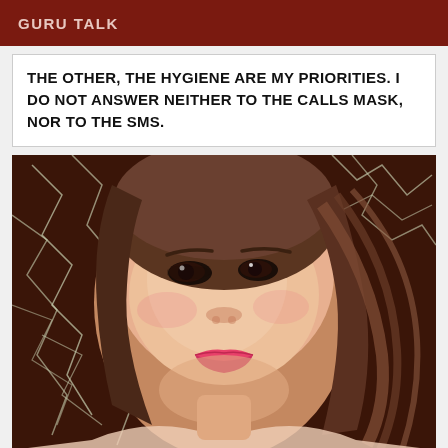GURU TALK
THE OTHER, THE HYGIENE ARE MY PRIORITIES. I DO NOT ANSWER NEITHER TO THE CALLS MASK, NOR TO THE SMS.
[Figure (photo): Close-up selfie photo of a young Asian woman with long brown hair, wearing pink lipstick, against a dark brown and white cracked tile background.]